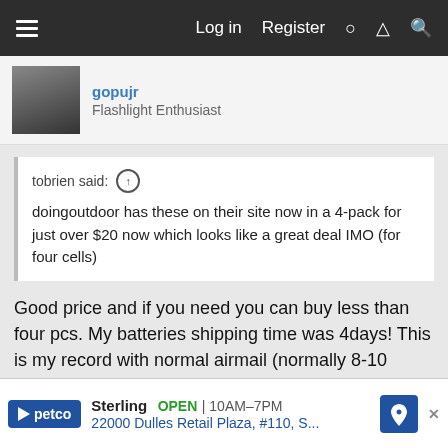Log in  Register
gopujr
Flashlight Enthusiast
tobrien said: ↑

doingoutdoor has these on their site now in a 4-pack for just over $20 now which looks like a great deal IMO (for four cells)
Good price and if you need you can buy less than four pcs. My batteries shipping time was 4days! This is my record with normal airmail (normally 8-10 days). They use singapore post.
btw 16340 not working with Armytok Partner C1, but perfect for Olig...
[Figure (screenshot): Petco advertisement banner showing Sterling location OPEN 10AM-7PM, 22000 Dulles Retail Plaza, #110, S...]